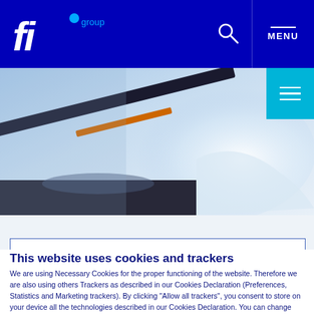[Figure (logo): fi group logo — stylized italic 'fi' in white with a blue dot and 'group' label in light blue, on dark blue background]
[Figure (photo): Close-up abstract photo of a car windshield wiper or antenna against a light blue sky background with orange accent]
This website uses cookies and trackers
We are using Necessary Cookies for the proper functioning of the website. Therefore we are also using others Trackers as described in our Cookies Declaration (Preferences, Statistics and Marketing trackers). By clicking "Allow all trackers", you consent to store on your device all the technologies described in our Cookies Declaration. You can change your tracker settings at any time by clicking on "Show details" and accept those that you explicitly